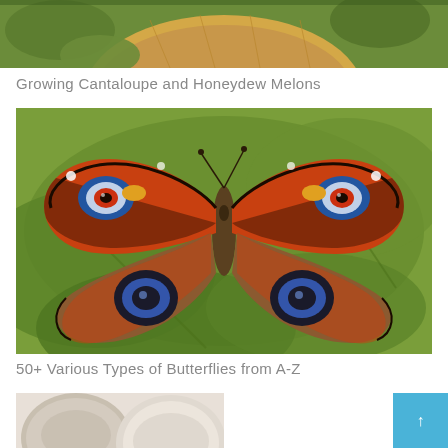[Figure (photo): Partial view of a cantaloupe or honeydew melon on green foliage, cropped at top of page]
Growing Cantaloupe and Honeydew Melons
[Figure (photo): A European Peacock butterfly with open wings showing distinctive eye-spot markings in orange, black and blue, resting on green leaves]
50+ Various Types of Butterflies from A-Z
[Figure (photo): Partial view of mushrooms, showing round caps, cropped at bottom of page]